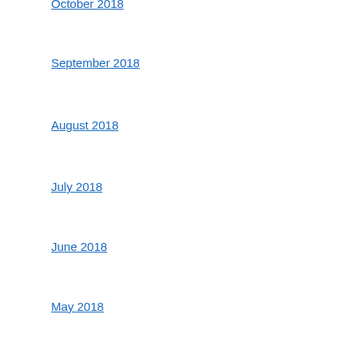October 2018
September 2018
August 2018
July 2018
June 2018
May 2018
Categories
Archives
Meta
Log in
Entries feed